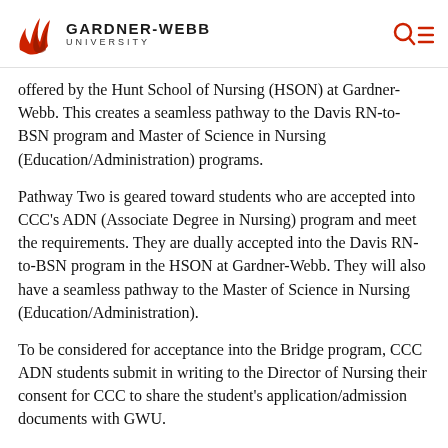GARDNER-WEBB UNIVERSITY
offered by the Hunt School of Nursing (HSON) at Gardner-Webb. This creates a seamless pathway to the Davis RN-to-BSN program and Master of Science in Nursing (Education/Administration) programs.
Pathway Two is geared toward students who are accepted into CCC's ADN (Associate Degree in Nursing) program and meet the requirements. They are dually accepted into the Davis RN-to-BSN program in the HSON at Gardner-Webb. They will also have a seamless pathway to the Master of Science in Nursing (Education/Administration).
To be considered for acceptance into the Bridge program, CCC ADN students submit in writing to the Director of Nursing their consent for CCC to share the student's application/admission documents with GWU.